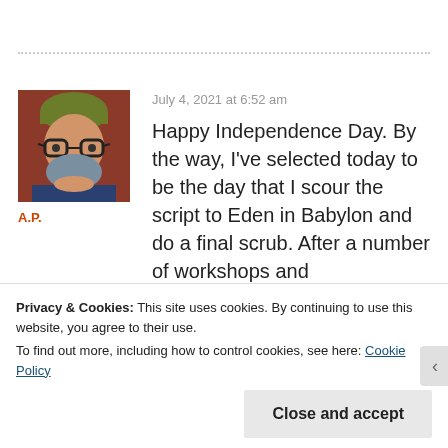[Figure (photo): Profile photo of a man with a green knit hat, dark-rimmed glasses, and a blue-grey beard, wearing a dark shirt, with a red/brown background.]
A.P.
July 4, 2021 at 6:52 am
Happy Independence Day. By the way, I've selected today to be the day that I scour the script to Eden in Babylon and do a final scrub. After a number of workshops and
Privacy & Cookies: This site uses cookies. By continuing to use this website, you agree to their use.
To find out more, including how to control cookies, see here: Cookie Policy
Close and accept